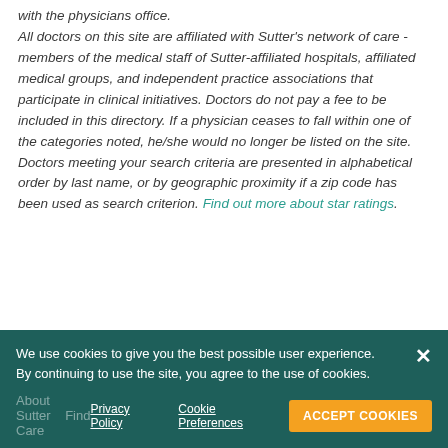All doctors on this site are affiliated with Sutter's network of care - members of the medical staff of Sutter-affiliated hospitals, affiliated medical groups, and independent practice associations that participate in clinical initiatives. Doctors do not pay a fee to be included in this directory. If a physician ceases to fall within one of the categories noted, he/she would no longer be listed on the site. Doctors meeting your search criteria are presented in alphabetical order by last name, or by geographic proximity if a zip code has been used as search criterion. Find out more about star ratings.
We use cookies to give you the best possible user experience. By continuing to use the site, you agree to the use of cookies.
Privacy Policy  Cookie Preferences  ACCEPT COOKIES